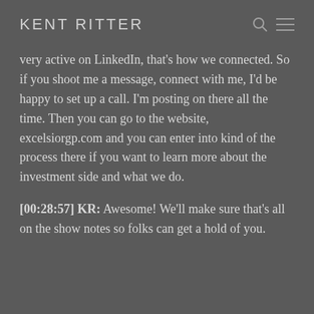KENT RITTER
very active on LinkedIn, that's how we connected. So if you shoot me a message, connect with me, I'd be happy to set up a call. I'm posting on there all the time. Then you can go to the website, excelsiorgp.com and you can enter into kind of the process there if you want to learn more about the investment side and what we do.
[00:28:57] KR: Awesome! We'll make sure that's all on the show notes so folks can get a hold of you.